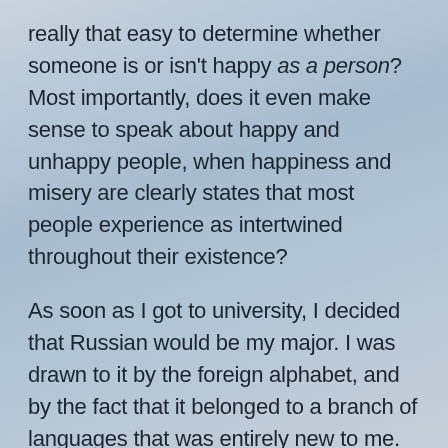really that easy to determine whether someone is or isn't happy as a person? Most importantly, does it even make sense to speak about happy and unhappy people, when happiness and misery are clearly states that most people experience as intertwined throughout their existence?
As soon as I got to university, I decided that Russian would be my major. I was drawn to it by the foreign alphabet, and by the fact that it belonged to a branch of languages that was entirely new to me. In addition, I was fascinated by the idea of reading more of Russian literature, and I did, as I explored the works of Tolstoy, Dostoevsky, Gogol